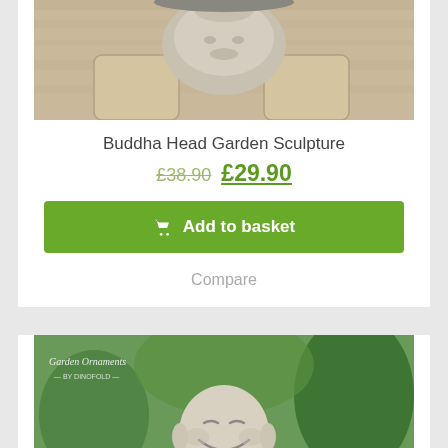[Figure (photo): Close-up photo of a Buddha head garden sculpture on a wooden surface]
Buddha Head Garden Sculpture
£38.90 £29.90
Add to basket
Compare
[Figure (photo): Photo of a laughing Buddha garden statue in a green garden setting with plants and flowers. Watermark reads Garden Ornaments By Dinofold.]